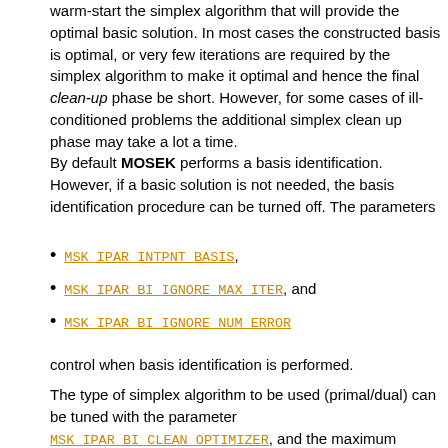warm-start the simplex algorithm that will provide the optimal basic solution. In most cases the constructed basis is optimal, or very few iterations are required by the simplex algorithm to make it optimal and hence the final clean-up phase be short. However, for some cases of ill-conditioned problems the additional simplex clean up phase may take a lot a time.
By default MOSEK performs a basis identification. However, if a basic solution is not needed, the basis identification procedure can be turned off. The parameters
MSK_IPAR_INTPNT_BASIS,
MSK_IPAR_BI_IGNORE_MAX_ITER, and
MSK_IPAR_BI_IGNORE_NUM_ERROR
control when basis identification is performed.
The type of simplex algorithm to be used (primal/dual) can be tuned with the parameter MSK_IPAR_BI_CLEAN_OPTIMIZER, and the maximum number of iterations can be set with MSK_IPAR_BI_MAX_ITERATIONS
Finally, it should be mentioned that there is no guarantee on which basic solution will be returned.